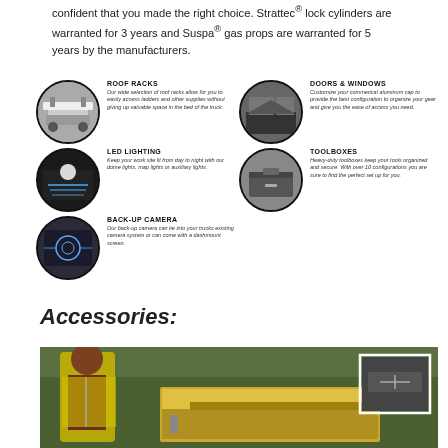confident that you made the right choice. Strattec® lock cylinders are warranted for 3 years and Suspa® gas props are warranted for 5 years by the manufacturers.
[Figure (infographic): Five circular icons with product category titles and descriptions: ROOF RACKS, DOORS & WINDOWS, LED LIGHTING, TOOLBOXES, BACK-UP CAMERA]
Accessories:
[Figure (photo): Worker in yellow safety vest loading or accessing a truck bed slide/drawer system outdoors. Inset box shows detail of the hardware.]